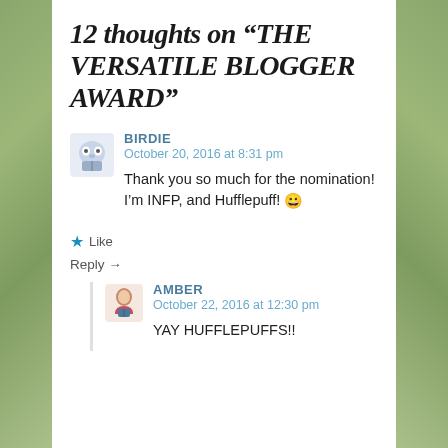12 thoughts on “THE VERSATILE BLOGGER AWARD”
BIRDIE
October 20, 2016 at 8:31 pm

Thank you so much for the nomination! I’m INFP, and Hufflepuff! 😀
★ Like
Reply →
AMBER
October 22, 2016 at 12:30 pm

YAY HUFFLEPUFFS!!